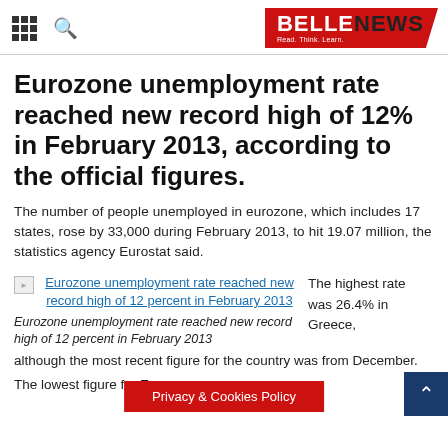BELLENEWS - Read. Think. Learn.
Eurozone unemployment rate reached new record high of 12% in February 2013, according to the official figures.
The number of people unemployed in eurozone, which includes 17 states, rose by 33,000 during February 2013, to hit 19.07 million, the statistics agency Eurostat said.
[Figure (illustration): Broken image placeholder with link: Eurozone unemployment rate reached new record high of 12 percent in February 2013]
Eurozone unemployment rate reached new record high of 12 percent in February 2013
The highest rate was 26.4% in Greece, although the most recent figure for the country was from December.
Privacy & Cookies Policy
The lowest figure for European...